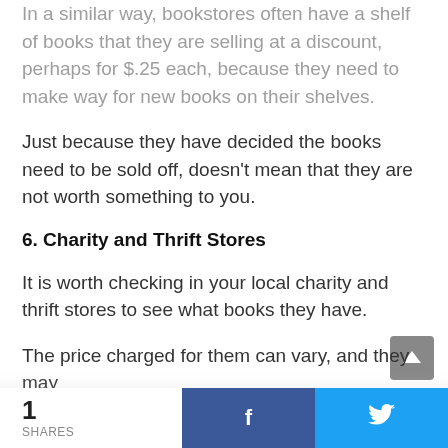In a similar way, bookstores often have a shelf of books that they are selling at a discount, perhaps for $.25 each, because they need to make way for new books on their shelves.
Just because they have decided the books need to be sold off, doesn't mean that they are not worth something to you.
6. Charity and Thrift Stores
It is worth checking in your local charity and thrift stores to see what books they have.
The price charged for them can vary, and they may
1 SHARES | f | (twitter icon)